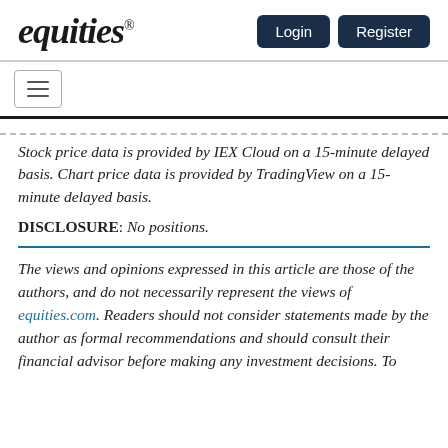equities® Login Register
Stock price data is provided by IEX Cloud on a 15-minute delayed basis. Chart price data is provided by TradingView on a 15-minute delayed basis.
DISCLOSURE: No positions.
The views and opinions expressed in this article are those of the authors, and do not necessarily represent the views of equities.com. Readers should not consider statements made by the author as formal recommendations and should consult their financial advisor before making any investment decisions. To